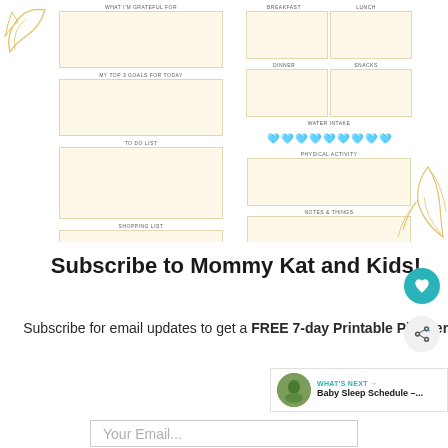[Figure (illustration): A daily planner printable page with sections: What I'm Grateful For, My Top 3 Goals For Today, To Do List, Shopping List on the left column; and Breakfast, Lunch, Dinner, Snacks, Water Intake (with 9 water drop icons), Physical Activity, Notes & Things on the right column. Cream/beige colored boxes with gold botanical leaf decorations.]
Subscribe to Mommy Kat and Kids!
Subscribe for email updates to get a FREE 7-day Printable Planner!
Your Email...